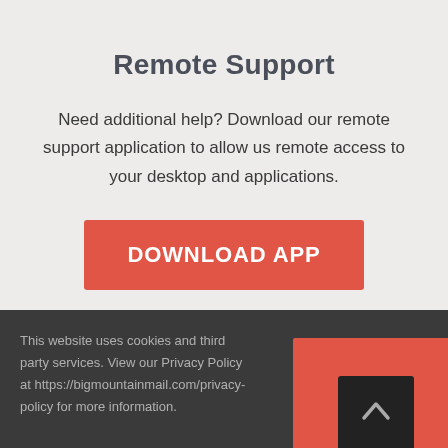Remote Support
Need additional help? Download our remote support application to allow us remote access to your desktop and applications.
[Figure (other): Red rounded rectangle button labeled DOWNLOAD APP]
This website uses cookies and third party services. View our Privacy Policy at https://bigmountainmail.com/privacy-policy for more information.